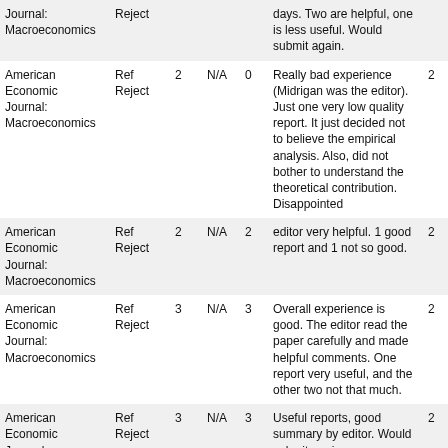| Journal | Decision | Refs | Col4 | Score | Comment | Year |
| --- | --- | --- | --- | --- | --- | --- |
| Journal:
Macroeconomics | Reject |  |  |  | days. Two are helpful, one is less useful. Would submit again. | 2(cut) |
| American Economic Journal:
Macroeconomics | Ref Reject | 2 | N/A | 0 | Really bad experience (Midrigan was the editor). Just one very low quality report. It just decided not to believe the empirical analysis. Also, did not bother to understand the theoretical contribution. Disappointed | 2(cut) |
| American Economic Journal:
Macroeconomics | Ref Reject | 2 | N/A | 2 | editor very helpful. 1 good report and 1 not so good. | 2(cut) |
| American Economic Journal:
Macroeconomics | Ref Reject | 3 | N/A | 3 | Overall experience is good. The editor read the paper carefully and made helpful comments. One report very useful, and the other two not that much. | 2(cut) |
| American Economic Journal:
Macroeconomics | Ref Reject | 3 | N/A | 3 | Useful reports, good summary by editor. Would submit again. | 2(cut) |
| American Economic Journal:
Macroeconomics | Ref Reject | 2 | N/A | 2 | 2 referee reports: 1 very detailed recommending revisions; other useless. wanted to reject from the outset. editor(s) provided good comments too, but | 2(cut) |